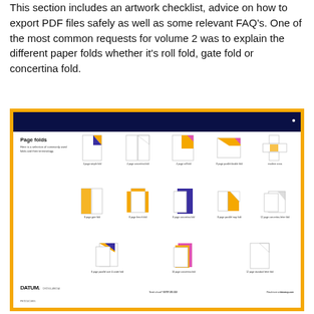This section includes an artwork checklist, advice on how to export PDF files safely as well as some relevant FAQ's. One of the most common requests for volume 2 was to explain the different paper folds whether it's roll fold, gate fold or concertina fold.
[Figure (illustration): A preview of a document page titled 'Page folds' showing 12+ illustrated paper fold types including 4 page simple fold, 4 page concertina fold, 4 page roll fold, 8 page parallel double fold, marlene cross, 8 page gate fold, 8 page french fold, 8 page concertina fold, 8 page parallel map fold, 12 page concertina letter fold, 8 page parallel over & under fold, 16 page concertina fold, 12 page standard letter fold. The preview has a dark navy header bar, gold/yellow border, and a Datum logo footer with phone 01707 251 222 and website datumcp.com.]